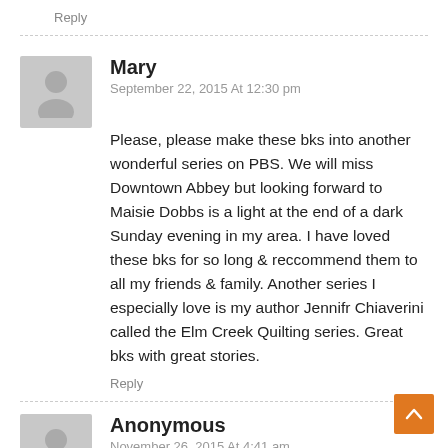Reply
Mary
September 22, 2015 At 12:30 pm
Please, please make these bks into another wonderful series on PBS. We will miss Downtown Abbey but looking forward to Maisie Dobbs is a light at the end of a dark Sunday evening in my area. I have loved these bks for so long & reccommend them to all my friends & family. Another series I especially love is my author Jennifr Chiaverini called the Elm Creek Quilting series. Great bks with great stories.
Reply
Anonymous
November 26, 2015 At 4:41 am